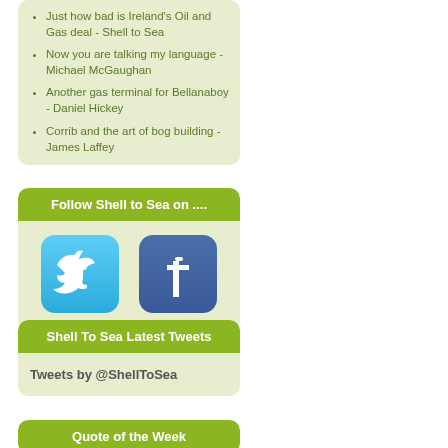Just how bad is Ireland's Oil and Gas deal - Shell to Sea
Now you are talking my language - Michael McGaughan
Another gas terminal for Bellanaboy - Daniel Hickey
Corrib and the art of bog building - James Laffey
Follow Shell to Sea on ....
[Figure (logo): Twitter social media icon - light blue rounded square with white bird logo]
[Figure (logo): Facebook social media icon - dark blue rounded square with white F logo]
Shell To Sea Latest Tweets
Tweets by @ShellToSea
Quote of the Week